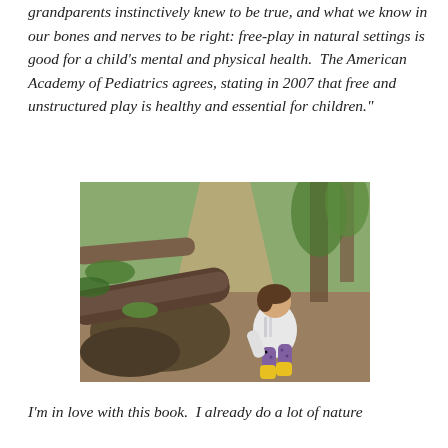grandparents instinctively knew to be true, and what we know in our bones and nerves to be right: free-play in natural settings is good for a child's mental and physical health.  The American Academy of Pediatrics agrees, stating in 2007 that free and unstructured play is healthy and essential for children."
[Figure (photo): A young child in a white hoodie and purple polka-dot pants with yellow rubber boots crouching down on a dirt path in a wooded natural setting, with fallen logs visible on the left side of the image.]
I'm in love with this book.  I already do a lot of nature